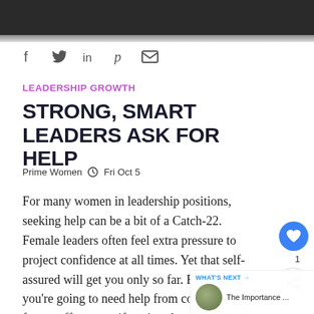[Figure (photo): Dark photo strip at the top of the article page showing a partial image]
f  y  in  p  (email icon) — social sharing icons
LEADERSHIP GROWTH
STRONG, SMART LEADERS ASK FOR HELP
Prime Women  (clock icon) Fri Oct 5
For many women in leadership positions, seeking help can be a bit of a Catch-22. Female leaders often feel extra pressure to project confidence at all times. Yet that self-assured will get you only so far. Eventually, you're going to need help from colleagues or from staff — even if you've already asserted that you could handle the job at hand. When that day